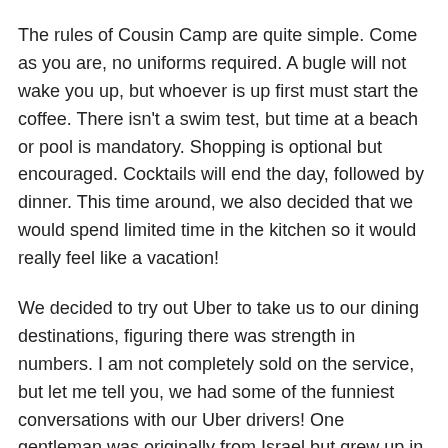The rules of Cousin Camp are quite simple.  Come as you are, no uniforms required.  A bugle will not wake you up, but whoever is up first must start the coffee.  There isn't a swim test, but time at a beach or pool is mandatory.  Shopping is optional but encouraged. Cocktails will end the day, followed by dinner. This time around, we also decided that we would spend limited time in the kitchen so it would really feel like a vacation!
We decided to try out Uber to take us to our dining destinations, figuring there was strength in numbers. I am not completely sold on the service, but let me tell you, we had some of the funniest conversations with our Uber drivers!  One gentleman was originally from Israel but grew up in Los Angeles.  Within minutes of being in his car, we not only changed our dinner plans, but we also had lunch plans for the next day at his